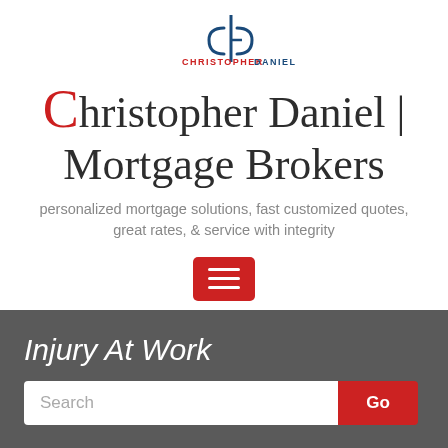[Figure (logo): Christopher Daniel mortgage brokers logo — stylized 'cd' monogram with 'CHRISTOPHER DANIEL' wordmark in red and blue]
Christopher Daniel | Mortgage Brokers
personalized mortgage solutions, fast customized quotes, great rates, & service with integrity
[Figure (other): Red hamburger menu button with three white horizontal bars]
Injury At Work
Search